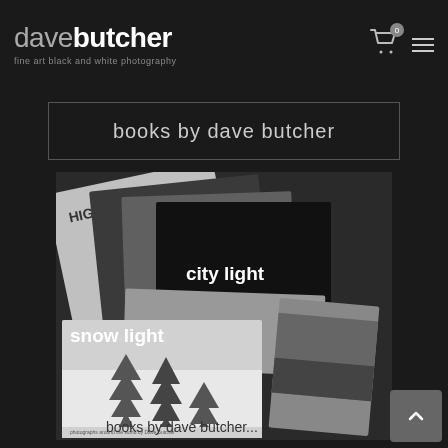davebutcher - fine art black and white photography
books by dave butcher
[Figure (photo): A fanned-out stack of photography books by Dave Butcher, showing covers titled: HIGH-LIGHT, peak light, lake light, city light, land light, snow light (with snowy pine trees on cover), and 'books by dave butcher...' caption at bottom. Black and white image.]